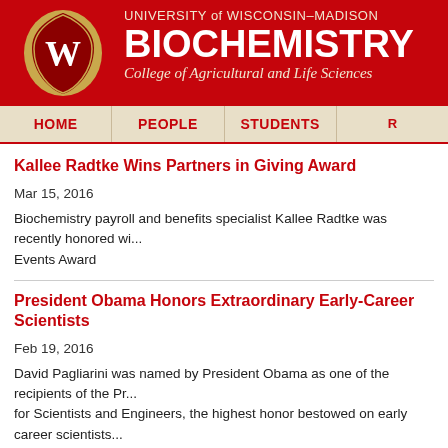UNIVERSITY of WISCONSIN–MADISON / BIOCHEMISTRY / College of Agricultural and Life Sciences
HOME | PEOPLE | STUDENTS
Kallee Radtke Wins Partners in Giving Award
Mar 15, 2016
Biochemistry payroll and benefits specialist Kallee Radtke was recently honored wi... Events Award
President Obama Honors Extraordinary Early-Career Scientists
Feb 19, 2016
David Pagliarini was named by President Obama as one of the recipients of the Pr... for Scientists and Engineers, the highest honor bestowed on early career scientists... States Government. The winners will receive their awards at a Washington, DC ce...
Photo of Dave Pagliarini at White House Reception and follow-up story courtesy of